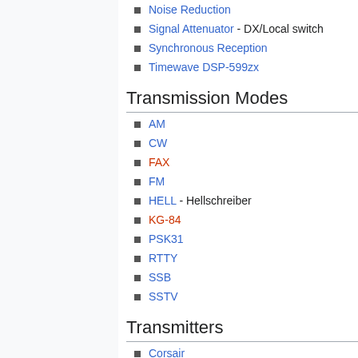Noise Reduction
Signal Attenuator - DX/Local switch
Synchronous Reception
Timewave DSP-599zx
Transmission Modes
AM
CW
FAX
FM
HELL - Hellschreiber
KG-84
PSK31
RTTY
SSB
SSTV
Transmitters
Corsair
Grenade
Icom IC706 MkIIG
Icom IC746